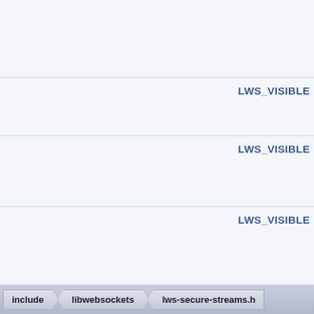|  |  |
| --- | --- |
|  |  |
|  | LWS_VISIBLE |
|  | LWS_VISIBLE |
|  | LWS_VISIBLE |
|  | LWS_VISIBLE |
|  | LWS_VISIBLE |
|  | LWS_VISIBLE LWS_E |
include  libwebsockets  lws-secure-streams.h